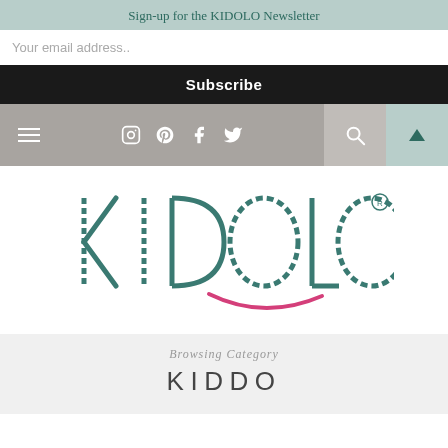Sign-up for the KIDOLO Newsletter
Your email address..
Subscribe
[Figure (screenshot): Navigation bar with hamburger menu, social media icons (Instagram, Pinterest, Facebook, Twitter), search icon, and teal arrow-up button]
[Figure (logo): KIDOLO brand logo in teal/dark green with dashed letter accents and a pink smile curve beneath the letters]
Browsing Category
KIDDO